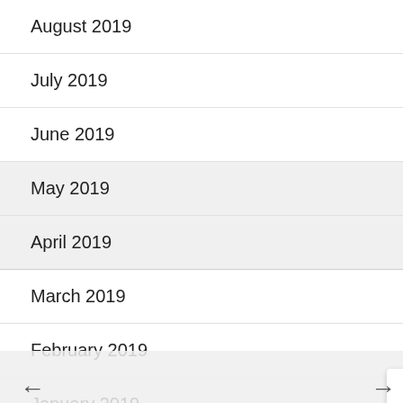August 2019
July 2019
June 2019
May 2019
April 2019
March 2019
February 2019
January 2019
December 2018